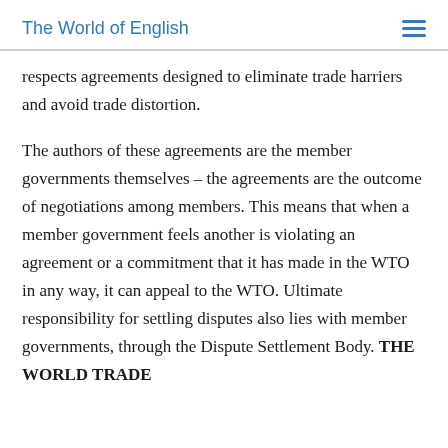The World of English
respects agreements designed to eliminate trade harriers and avoid trade distortion.
The authors of these agreements are the member governments themselves – the agreements are the outcome of negotiations among members. This means that when a member government feels another is violating an agreement or a commitment that it has made in the WTO in any way, it can appeal to the WTO. Ultimate responsibility for settling disputes also lies with member governments, through the Dispute Settlement Body. THE WORLD TRADE